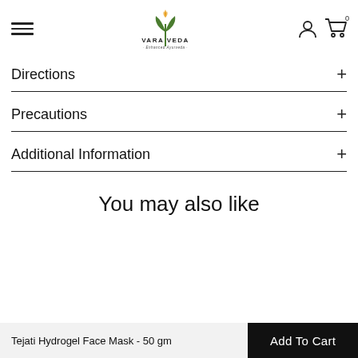[Figure (logo): Vara Veda Enhanced Ayurveda logo with a plant/leaf icon in gold and green]
Directions
Precautions
Additional Information
You may also like
Tejati Hydrogel Face Mask - 50 gm   Add To Cart